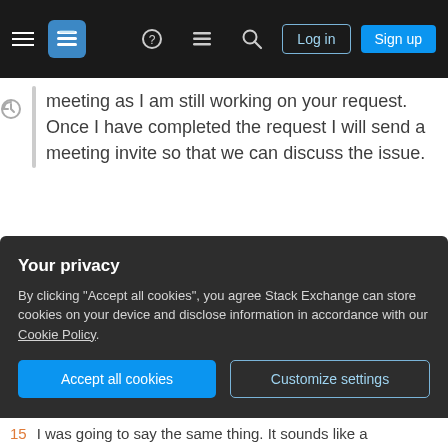Stack Exchange navigation bar with hamburger menu, logo, help, chat, search icons, Log in and Sign up buttons
meeting as I am still working on your request. Once I have completed the request I will send a meeting invite so that we can discuss the issue.
If your company owns the product, then the customer usually does not need to see any of the internal code, servers,...etc. In fact, you may be violating company policy by sharing your screen of your company's internal systems. When in doubt, talk to your boss and ask how these cases should
Your privacy
By clicking "Accept all cookies", you agree Stack Exchange can store cookies on your device and disclose information in accordance with our Cookie Policy.
Accept all cookies
Customize settings
15   I was going to say the same thing. It sounds like a